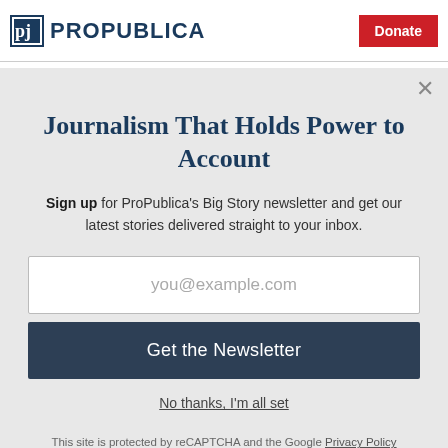ProPublica | Donate
Bort said the agency is not currently working on the study. She said officials may resume the research next
Journalism That Holds Power to Account
Sign up for ProPublica's Big Story newsletter and get our latest stories delivered straight to your inbox.
you@example.com
Get the Newsletter
No thanks, I'm all set
This site is protected by reCAPTCHA and the Google Privacy Policy and Terms of Service apply.